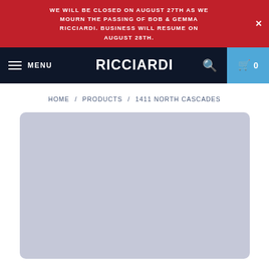WE WILL BE CLOSED ON AUGUST 27TH AS WE MOURN THE PASSING OF BOB & GEMMA RICCIARDI. BUSINESS WILL RESUME ON AUGUST 28TH.
MENU  RICCIARDI  🔍  🛒 0
HOME / PRODUCTS / 1411 NORTH CASCADES
[Figure (photo): Product image placeholder — light grey/lavender rectangle with rounded corners, representing the 1411 North Cascades product image area.]